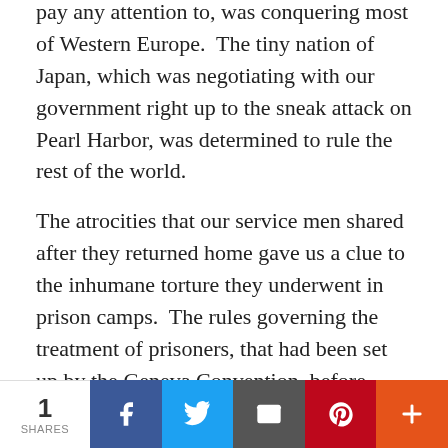pay any attention to, was conquering most of Western Europe.  The tiny nation of Japan, which was negotiating with our government right up to the sneak attack on Pearl Harbor, was determined to rule the rest of the world.
The atrocities that our service men shared after they returned home gave us a clue to the inhumane torture they underwent in prison camps.  The rules governing the treatment of prisoners, that had been set up by the Geneva Convention, before World War I, did not seem to apply to the members of the Axis, as the Nazi-Japanese alliance was called.  They acted as if they were exempt from this governing body which was given the authority to insure humanitarian treatment to all prisoners of war.  The Nurenburg trials brought out the open defiance of the Nazis as witnesses came forth, testifying to the monstrous genocide and barbaric experimentation done
1 SHARES | Facebook | Twitter | Email | Pinterest | More